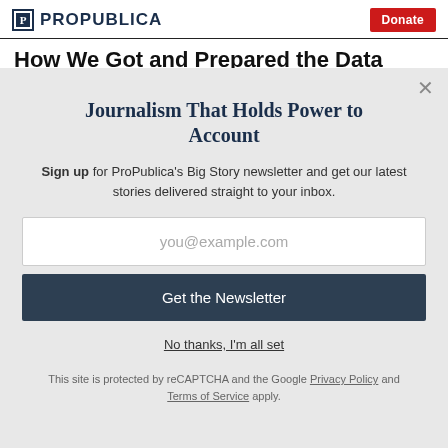ProPublica | Donate
How We Got and Prepared the Data
Journalism That Holds Power to Account
Sign up for ProPublica's Big Story newsletter and get our latest stories delivered straight to your inbox.
you@example.com
Get the Newsletter
No thanks, I'm all set
This site is protected by reCAPTCHA and the Google Privacy Policy and Terms of Service apply.